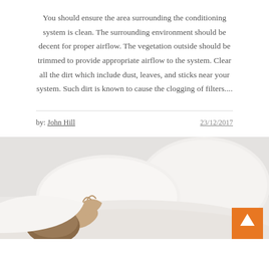You should ensure the area surrounding the conditioning system is clean. The surrounding environment should be decent for proper airflow. The vegetation outside should be trimmed to provide appropriate airflow to the system. Clear all the dirt which include dust, leaves, and sticks near your system. Such dirt is known to cause the clogging of filters....
by: John Hill
23/12/2017
[Figure (photo): A person lying in bed covered with white pillows and duvet, appearing to be resting or sleeping]